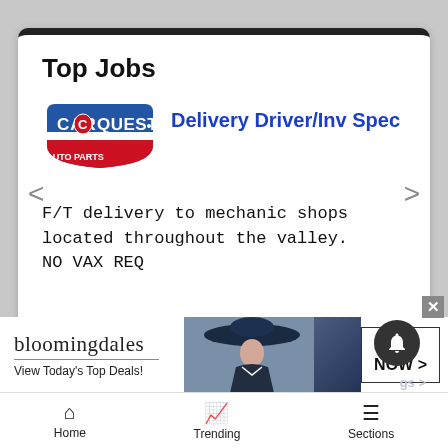Top Jobs
[Figure (logo): CARQUEST logo - red and blue shield/crest shape with CARQUEST text]
Delivery Driver/Inv Spec
F/T delivery to mechanic shops located throughout the valley. NO VAX REQ
[Figure (photo): Bloomingdales advertisement banner: woman with large blue hat, 'bloomingdales View Today's Top Deals!' text, SHOP NOW > button]
Home  Trending  Sections